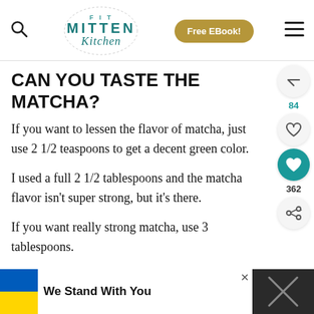[Figure (logo): Fit Mitten Kitchen logo with teal text and circular border element, plus search icon and hamburger menu. Free EBook button in gold/tan color.]
CAN YOU TASTE THE MATCHA?
If you want to lessen the flavor of matcha, just use 2 1/2 teaspoons to get a decent green color.
I used a full 2 1/2 tablespoons and the matcha flavor isn't super strong, but it's there.
If you want really strong matcha, use 3 tablespoons.
[Figure (infographic): Ad banner reading 'We Stand With You' with Ukrainian flag colors (blue and yellow) on left, dark background, and close button.]